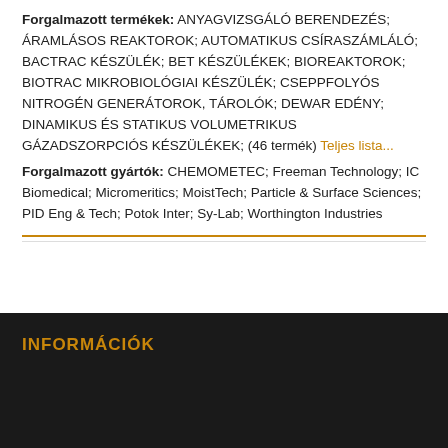Forgalmazott termékek: ANYAGVIZSGÁLÓ BERENDEZÉS; ÁRAMLÁSOS REAKTOROK; AUTOMATIKUS CSÍRASZÁMLÁLÓ; BACTRAC KÉSZÜLÉK; BET KÉSZÜLÉKEK; BIOREAKTOROK; BIOTRAC MIKROBIOLÓGIAI KÉSZÜLÉK; CSEPPFOLYÓS NITROGÉN GENERÁTOROK, TÁROLÓK; DEWAR EDÉNY; DINAMIKUS ÉS STATIKUS VOLUMETRIKUS GÁZADSZORPCIÓS KÉSZÜLÉKEK; (46 termék) Teljes lista...
Forgalmazott gyártók: CHEMOMETEC; Freeman Technology; IC Biomedical; Micromeritics; MoistTech; Particle & Surface Sciences; PID Eng & Tech; Potok Inter; Sy-Lab; Worthington Industries
INFORMÁCIÓK